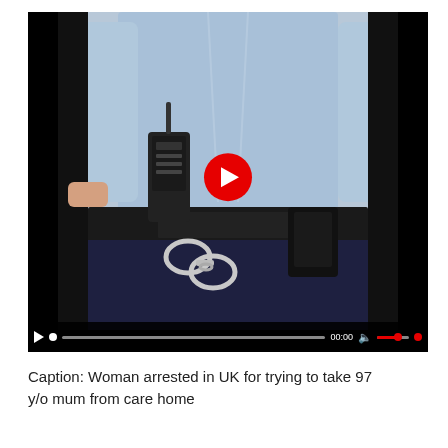[Figure (screenshot): A video player screenshot showing a police officer from behind at waist level, wearing a light blue shirt, dark navy trousers, black belt, handcuffs, and a radio. A red play button is overlaid in the center. The video control bar at the bottom shows a play button, progress bar, time display (00:00), volume icon, and red volume bar.]
Caption: Woman arrested in UK for trying to take 97 y/o mum from care home